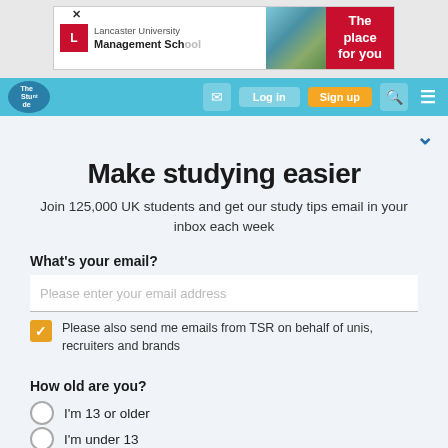[Figure (screenshot): Lancaster University Management School advertisement banner with red logo, building photo, and 'The place for you' text on red background]
[Figure (screenshot): The Student Room website navigation bar in teal/blue color with logo, icons, and yellow button]
Make studying easier
Join 125,000 UK students and get our study tips email in your inbox each week
What's your email?
Please enter your email address
Please also send me emails from TSR on behalf of unis, recruiters and brands
How old are you?
I'm 13 or older
I'm under 13